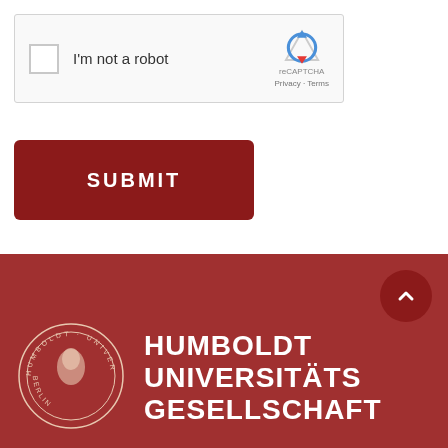[Figure (screenshot): reCAPTCHA widget with checkbox labeled 'I'm not a robot', with reCAPTCHA logo and Privacy/Terms links on the right]
[Figure (screenshot): Dark red SUBMIT button with white bold uppercase text]
[Figure (logo): Humboldt Universität seal/crest on dark red footer background]
HUMBOLDT UNIVERSITÄTS GESELLSCHAFT